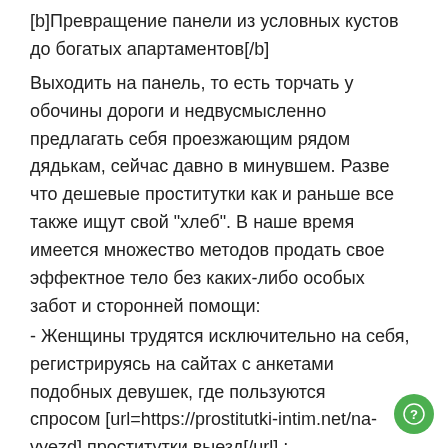[b]Превращение панели из условных кустов до богатых апартаментов[/b]
Выходить на панель, то есть торчать у обочины дороги и недвусмысленно предлагать себя проезжающим рядом дядькам, сейчас давно в минувшем. Разве что дешевые проститутки как и раньше все также ищут свой "хлеб". В наше время имеется множество методов продать свое эффектное тело без каких-либо особых забот и сторонней помощи:
- Женщины трудятся исключительно на себя, регистрируясь на сайтах с анкетами подобных девушек, где пользуются спросом [url=https://prostitutki-intim.net/na-vyezd] проститутки выезд[/url] ;
- Девочки вначале выступают в статусе эксортниц или массажисток, но за лишнее